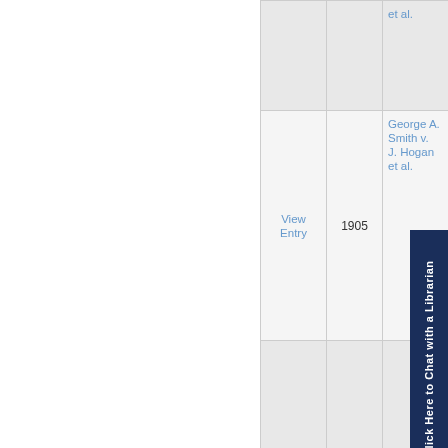| View Entry | Year | Case Name |
| --- | --- | --- |
|  |  | et al. |
| View Entry | 1905 | George A. Smith v. J. Hogan et al. |
|  |  |  |
[Figure (other): Chat widget button: 'Click Here to Chat with a Librarian' on dark navy blue background, rotated vertically]